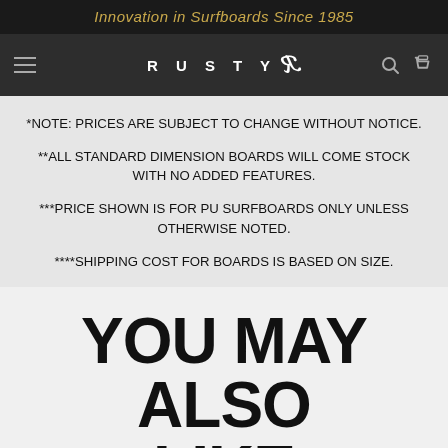Innovation in Surfboards Since 1985
[Figure (logo): Rusty surfboards navigation bar with hamburger menu, RUSTY logo with stylized R, search icon, and cart icon]
*NOTE: PRICES ARE SUBJECT TO CHANGE WITHOUT NOTICE.
**ALL STANDARD DIMENSION BOARDS WILL COME STOCK WITH NO ADDED FEATURES.
***PRICE SHOWN IS FOR PU SURFBOARDS ONLY UNLESS OTHERWISE NOTED.
****SHIPPING COST FOR BOARDS IS BASED ON SIZE.
YOU MAY ALSO LIKE